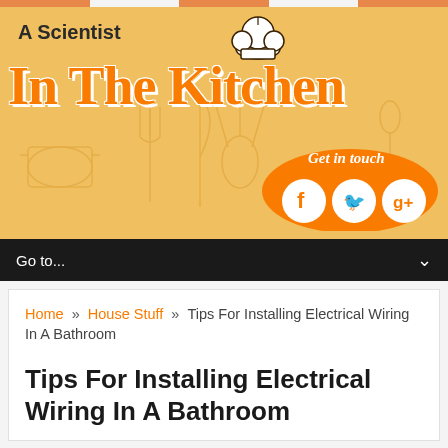[Figure (illustration): Website header banner for 'A Scientist In The Kitchen' blog with orange background, kitchen utensil pattern, chef hat icon, script logo text, and social media icons (Facebook, Twitter, Google+) in a 'Get in touch' bubble]
Go to...
Home » House Stuff » Tips For Installing Electrical Wiring In A Bathroom
Tips For Installing Electrical Wiring In A Bathroom